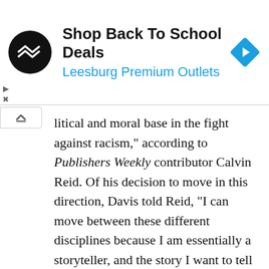[Figure (other): Advertisement banner for Leesburg Premium Outlets with logo, title 'Shop Back To School Deals', and navigation arrow icon]
litical and moral base in the fight against racism," according to Publishers Weekly contributor Calvin Reid. Of his decision to move in this direction, Davis told Reid, "I can move between these different disciplines because I am essentially a storyteller, and the story I want to tell is about black people. Sometimes I sing the story, sometimes I dance it, sometimes I tell tall tales about it, but I always want to share my great satisfaction at being a black man at this time in history."